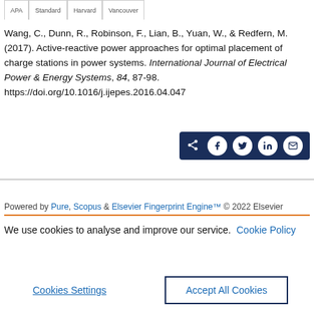Wang, C., Dunn, R., Robinson, F., Lian, B., Yuan, W., & Redfern, M. (2017). Active-reactive power approaches for optimal placement of charge stations in power systems. International Journal of Electrical Power & Energy Systems, 84, 87-98. https://doi.org/10.1016/j.ijepes.2016.04.047
[Figure (other): Social share bar with icons for share, Facebook, Twitter, LinkedIn, and email on dark navy background]
Powered by Pure, Scopus & Elsevier Fingerprint Engine™ © 2022 Elsevier
We use cookies to analyse and improve our service. Cookie Policy
Cookies Settings    Accept All Cookies